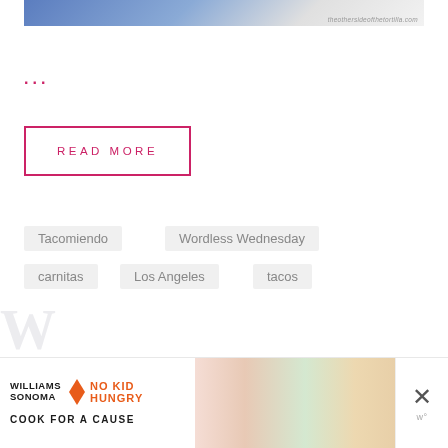[Figure (photo): Partial photo showing blue and white background with watermark text 'theothersideofthetortilla.com' at bottom right]
...
READ MORE
Tacomiendo
Wordless Wednesday
carnitas
Los Angeles
tacos
[Figure (photo): Williams Sonoma No Kid Hungry Cook For A Cause advertisement banner with colorful spatulas image]